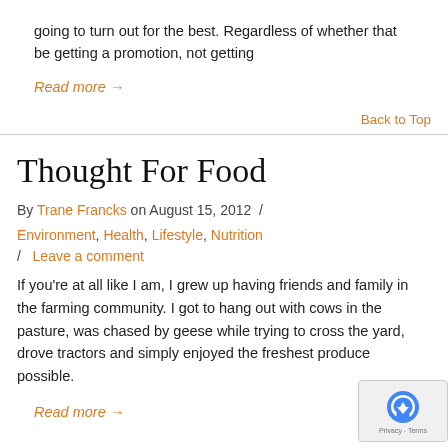going to turn out for the best. Regardless of whether that be getting a promotion, not getting
Read more →
Back to Top
Thought For Food
By Trane Francks on August 15, 2012 /
Environment, Health, Lifestyle, Nutrition
/ Leave a comment
If you're at all like I am, I grew up having friends and family in the farming community. I got to hang out with cows in the pasture, was chased by geese while trying to cross the yard, drove tractors and simply enjoyed the freshest produce possible.
Read more →